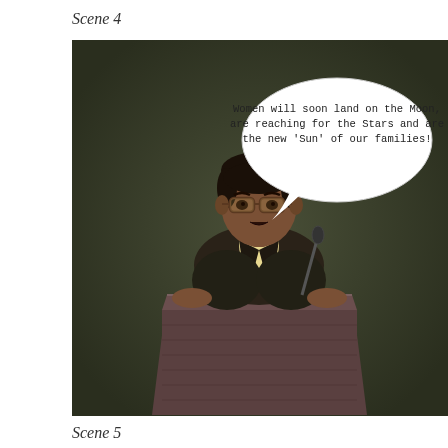Scene 4
[Figure (illustration): Illustrated scene of a dark-skinned man with glasses standing at a wooden podium/lectern, wearing a dark blazer over a light-colored shirt, with a speech bubble reading: 'Women will soon land on the Moon, are reaching for the Stars and are the new \'Sun\' of our families!' The background is dark olive/green.]
Scene 5